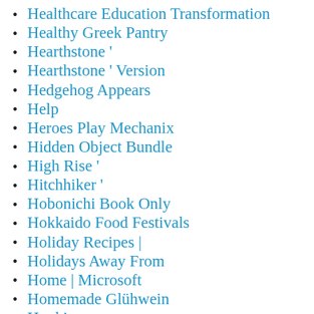Healthcare Education Transformation
Healthy Greek Pantry
Hearthstone '
Hearthstone ' Version
Hedgehog Appears
Help
Heroes Play Mechanix
Hidden Object Bundle
High Rise '
Hitchhiker '
Hobonichi Book Only
Hokkaido Food Festivals
Holiday Recipes |
Holidays Away From
Home | Microsoft
Homemade Glühwein
Hooking